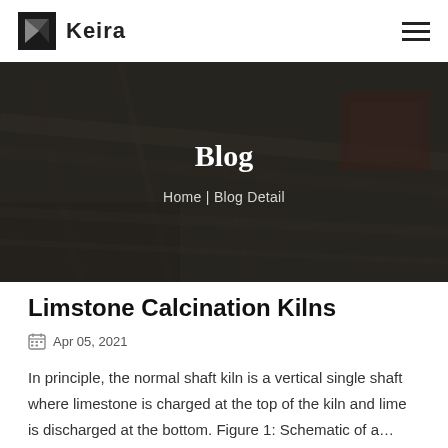Keira
[Figure (photo): Dark industrial background image showing machinery/conveyor equipment with dark overlay, displaying hero banner with 'Blog' title and 'Home | Blog Detail' breadcrumb.]
Blog
Home | Blog Detail
Limstone Calcination Kilns
Apr 05, 2021
In principle, the normal shaft kiln is a vertical single shaft where limestone is charged at the top of the kiln and lime is discharged at the bottom. Figure 1: Schematic of a…